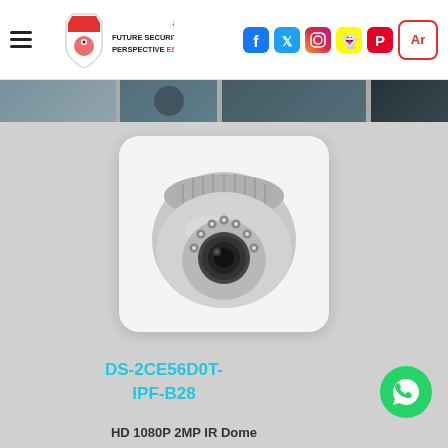[Figure (logo): Future Security Perspective Est. logo with Arabic text مؤسسة المستقبل المنظور الامنية and red/black shield mascot]
[Figure (infographic): Social media icons: Facebook, Twitter, Instagram, Snapchat, Pinterest, and an Ar language toggle button]
[Figure (photo): Banner strip showing partial images of security cameras and surveillance equipment]
[Figure (photo): Hikvision DS-2CE56D0T-IPF-B28 dome camera product photo on white card background]
DS-2CE56D0T-IPF-B28
HD 1080P 2MP IR Dome
[Figure (other): WhatsApp green circle button icon]